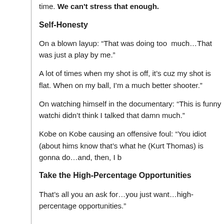time. We can't stress that enough.
Self-Honesty
On a blown layup: “That was doing too  much…That was just a play by me.”
A lot of times when my shot is off, it’s cuz my shot is flat. When on my ball, I’m a much better shooter.”
On watching himself in the documentary: “This is funny watchi didn’t think I talked that damn much.”
Kobe on Kobe causing an offensive foul: “You idiot (about hims know that’s what he (Kurt Thomas) is gonna do…and, then, I b
Take the High-Percentage Opportunities
That’s all you an ask for…you just want…high-percentage opportunities.”